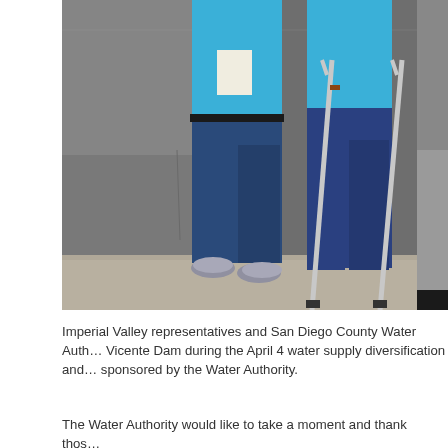[Figure (photo): People standing next to a concrete wall, one person wearing a blue t-shirt with a nametag and jeans with gray sneakers, another person in blue jeans using crutches, and another person partially visible in gray pants and dark shoes.]
Imperial Valley representatives and San Diego County Water Authority staff tour San Vicente Dam during the April 4 water supply diversification and water reliability tour sponsored by the Water Authority.
The Water Authority would like to take a moment and thank those